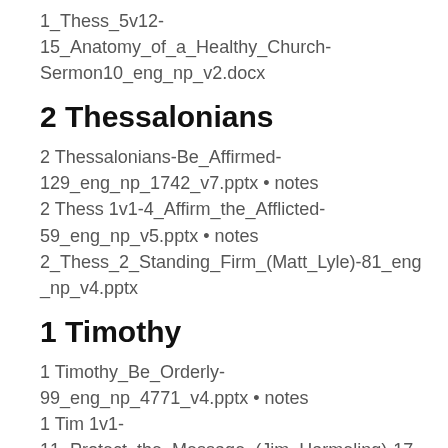1_Thess_5v12-15_Anatomy_of_a_Healthy_Church-Sermon10_eng_np_v2.docx
2 Thessalonians
2 Thessalonians-Be_Affirmed-129_eng_np_1742_v7.pptx • notes
2 Thess 1v1-4_Affirm_the_Afflicted-59_eng_np_v5.pptx • notes
2_Thess_2_Standing_Firm_(Matt_Lyle)-81_eng_np_v4.pptx
1 Timothy
1 Timothy_Be_Orderly-99_eng_np_4771_v4.pptx • notes
1 Tim 1v1-11_Protect_the_Message_(Jim_Harmeling)-17